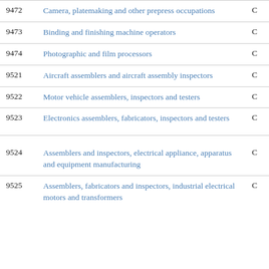| Code | Description | Cat |
| --- | --- | --- |
| 9472 | Camera, platemaking and other prepress occupations | C |
| 9473 | Binding and finishing machine operators | C |
| 9474 | Photographic and film processors | C |
| 9521 | Aircraft assemblers and aircraft assembly inspectors | C |
| 9522 | Motor vehicle assemblers, inspectors and testers | C |
| 9523 | Electronics assemblers, fabricators, inspectors and testers | C |
| 9524 | Assemblers and inspectors, electrical appliance, apparatus and equipment manufacturing | C |
| 9525 | Assemblers, fabricators and inspectors, industrial electrical motors and transformers | C |